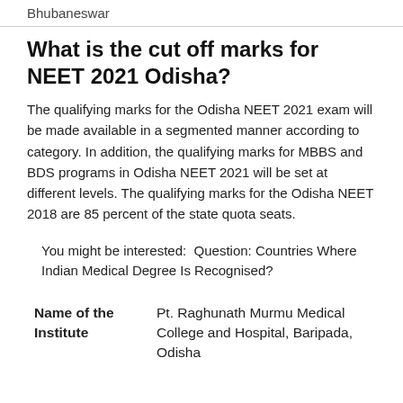Bhubaneswar
What is the cut off marks for NEET 2021 Odisha?
The qualifying marks for the Odisha NEET 2021 exam will be made available in a segmented manner according to category. In addition, the qualifying marks for MBBS and BDS programs in Odisha NEET 2021 will be set at different levels. The qualifying marks for the Odisha NEET 2018 are 85 percent of the state quota seats.
You might be interested:  Question: Countries Where Indian Medical Degree Is Recognised?
| Name of the Institute |  |
| --- | --- |
| Name of the Institute | Pt. Raghunath Murmu Medical College and Hospital, Baripada, Odisha |